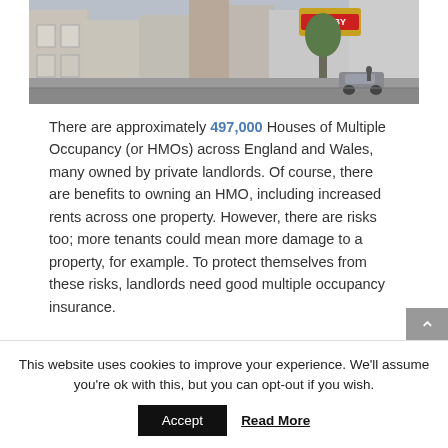[Figure (photo): Street photo of terraced houses with a 'LET BY' sign visible, cars parked on the street, typical UK residential street scene]
There are approximately 497,000 Houses of Multiple Occupancy (or HMOs) across England and Wales, many owned by private landlords. Of course, there are benefits to owning an HMO, including increased rents across one property. However, there are risks too; more tenants could mean more damage to a property, for example. To protect themselves from these risks, landlords need good multiple occupancy insurance.
This website uses cookies to improve your experience. We'll assume you're ok with this, but you can opt-out if you wish.
Accept
Read More